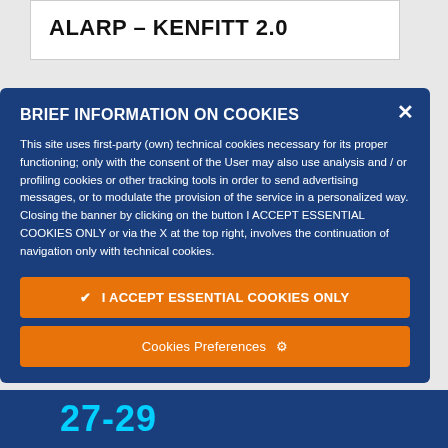ALARP – KENFITT 2.0
BRIEF INFORMATION ON COOKIES
This site uses first-party (own) technical cookies necessary for its proper functioning; only with the consent of the User may also use analysis and / or profiling cookies or other tracking tools in order to send advertising messages, or to modulate the provision of the service in a personalized way. Closing the banner by clicking on the button I ACCEPT ESSENTIAL COOKIES ONLY or via the X at the top right, involves the continuation of navigation only with technical cookies.
✔  I ACCEPT ESSENTIAL COOKIES ONLY
Cookies Preferences  ⚙